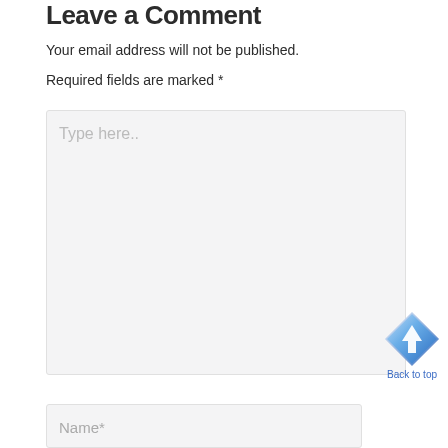Leave a Comment
Your email address will not be published.
Required fields are marked *
[Figure (screenshot): A comment form textarea with placeholder text 'Type here..' on a light gray background]
[Figure (illustration): A blue diamond-shaped 'Back to top' button with an upward arrow icon and 'Back to top' label below]
[Figure (screenshot): A form input field labeled 'Name*' on a light gray background]